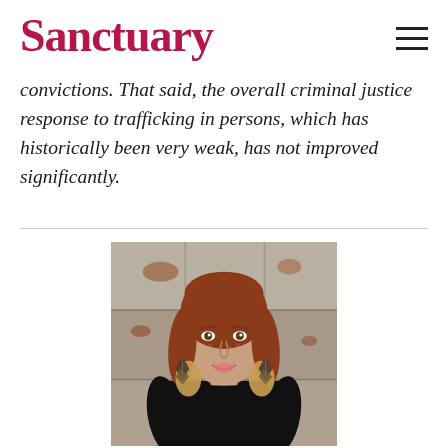Sanctuary
convictions. That said, the overall criminal justice response to trafficking in persons, which has historically been very weak, has not improved significantly.
[Figure (photo): Portrait photo of a young woman with reddish-brown to blonde ombre hair, wearing a black long-sleeve top and statement geometric earrings, standing in front of a weathered metal wall, smiling at the camera with one hand on her hip.]